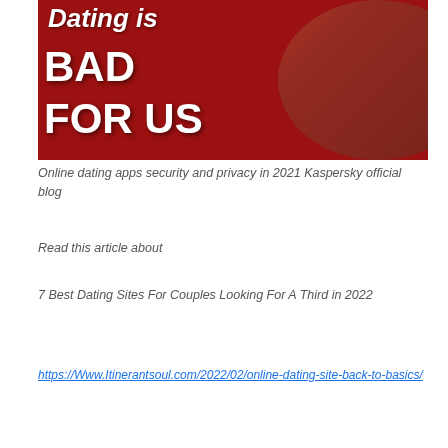[Figure (photo): Image with red background showing text 'Dating is BAD FOR US' with a woman hugging a magazine or book with a muscular man on the cover]
Online dating apps security and privacy in 2021 Kaspersky official blog
Read this article about
7 Best Dating Sites For Couples Looking For A Third in 2022
https://Www.Itinerantsoul.com/2022/02/online-dating-site-back-to-basics/